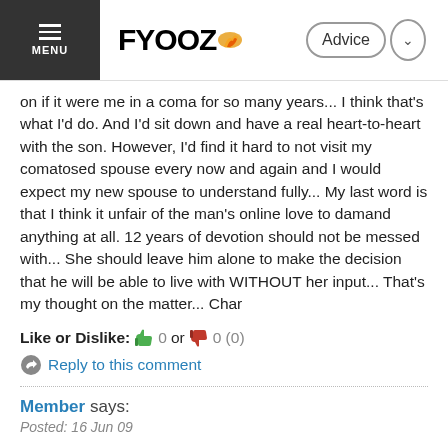FYOOZ — Advice
on if it were me in a coma for so many years... I think that's what I'd do. And I'd sit down and have a real heart-to-heart with the son. However, I'd find it hard to not visit my comatosed spouse every now and again and I would expect my new spouse to understand fully... My last word is that I think it unfair of the man's online love to damand anything at all. 12 years of devotion should not be messed with... She should leave him alone to make the decision that he will be able to live with WITHOUT her input... That's my thought on the matter... Char
Like or Dislike: 👍 0 or 👎 0 (0)
Reply to this comment
Member says:
Posted: 16 Jun 09
Interesting... Thanks. But what sign on novelties of the news? sory...
Like or Dislike: 👍